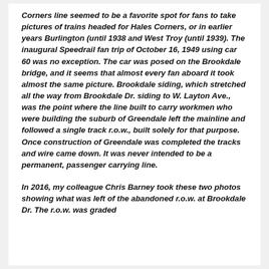Corners line seemed to be a favorite spot for fans to take pictures of trains headed for Hales Corners, or in earlier years Burlington (until 1938 and West Troy (until 1939). The inaugural Speedrail fan trip of October 16, 1949 using car 60 was no exception. The car was posed on the Brookdale bridge, and it seems that almost every fan aboard it took almost the same picture. Brookdale siding, which stretched all the way from Brookdale Dr. siding to W. Layton Ave., was the point where the line built to carry workmen who were building the suburb of Greendale left the mainline and followed a single track r.o.w., built solely for that purpose. Once construction of Greendale was completed the tracks and wire came down. It was never intended to be a permanent, passenger carrying line.
In 2016, my colleague Chris Barney took these two photos showing what was left of the abandoned r.o.w. at Brookdale Dr. The r.o.w. was graded but appears unpaved, but the former track right-of-way...